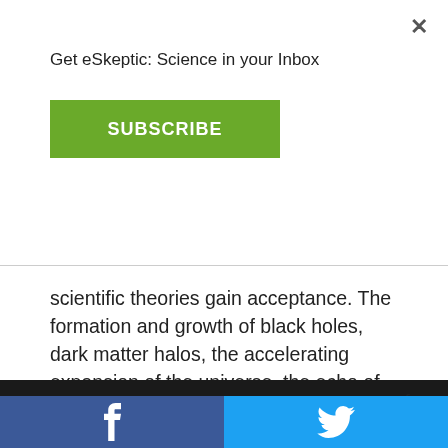Get eSkeptic: Science in your Inbox
SUBSCRIBE
scientific theories gain acceptance. The formation and growth of black holes, dark matter halos, the accelerating expansion of the universe, the echo of the big bang, the discovery of exoplanets, and the possibility of other universes—these are some of the puzzling cosmological topics of the early twenty-first
nce of new has never the hifting offers the r
This website uses cookies to ensure you get the best experience on our website.
Learn more.
GOT IT!